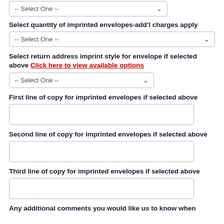-- Select One --
Select quantity of imprinted envelopes-add'l charges apply
-- Select One --
Select return address imprint style for envelope if selected above Click here to view available options
-- Select One --
First line of copy for imprinted envelopes if selected above
Second line of copy for imprinted envelopes if selected above
Third line of copy for imprinted envelopes if selected above
Any additional comments you would like us to know when